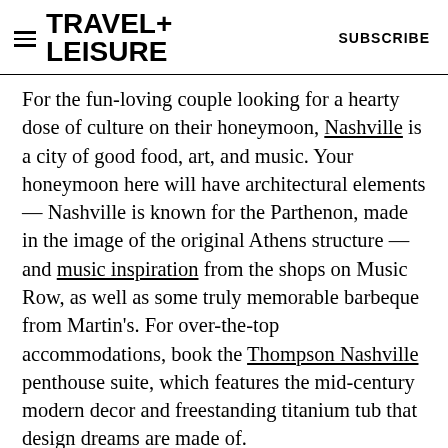TRAVEL+ LEISURE   SUBSCRIBE
For the fun-loving couple looking for a hearty dose of culture on their honeymoon, Nashville is a city of good food, art, and music. Your honeymoon here will have architectural elements — Nashville is known for the Parthenon, made in the image of the original Athens structure — and music inspiration from the shops on Music Row, as well as some truly memorable barbeque from Martin's. For over-the-top accommodations, book the Thompson Nashville penthouse suite, which features the mid-century modern decor and freestanding titanium tub that design dreams are made of.
[Figure (advertisement): Venture X > Capital One advertisement banner]